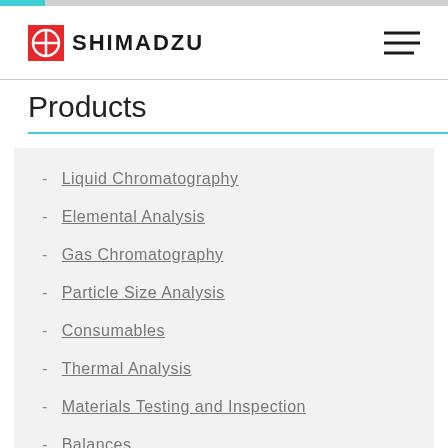[Figure (logo): Shimadzu logo with red circle icon and bold SHIMADZU text]
Products
Liquid Chromatography
Elemental Analysis
Gas Chromatography
Particle Size Analysis
Consumables
Thermal Analysis
Materials Testing and Inspection
Balances
Life Science Lab Instruments